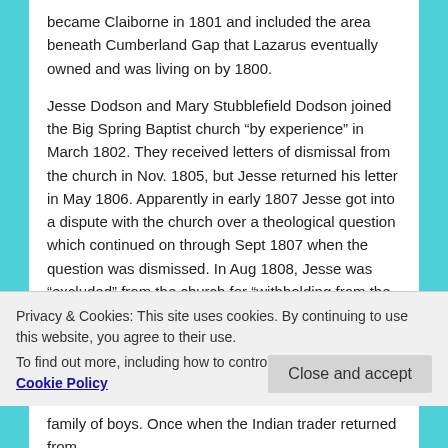became Claiborne in 1801 and included the area beneath Cumberland Gap that Lazarus eventually owned and was living on by 1800.
Jesse Dodson and Mary Stubblefield Dodson joined the Big Spring Baptist church “by experience” in March 1802. They received letters of dismissal from the church in Nov. 1805, but Jesse returned his letter in May 1806. Apparently in early 1807 Jesse got into a dispute with the church over a theological question which continued on through Sept 1807 when the question was dismissed. In Aug 1808, Jesse was “excluded” from the church for “withholding from the Church.” He is not again found in the records of Claiborne Co.
Privacy & Cookies: This site uses cookies. By continuing to use this website, you agree to their use.
To find out more, including how to control cookies, see here: Cookie Policy
family of boys. Once when the Indian trader returned from